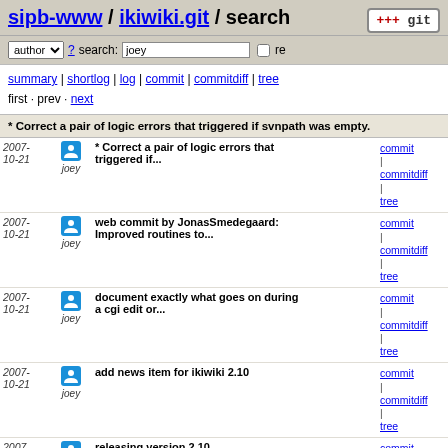sipb-www / ikiwiki.git / search
author ? search: joey re
summary | shortlog | log | commit | commitdiff | tree
first · prev · next
* Correct a pair of logic errors that triggered if svnpath was empty.
| date | author | message | links |
| --- | --- | --- | --- |
| 2007-10-21 | joey | * Correct a pair of logic errors that triggered if... | commit | commitdiff | tree |
| 2007-10-21 | joey | web commit by JonasSmedegaard: Improved routines to... | commit | commitdiff | tree |
| 2007-10-21 | joey | document exactly what goes on during a cgi edit or... | commit | commitdiff | tree |
| 2007-10-21 | joey | add news item for ikiwiki 2.10 | commit | commitdiff | tree |
| 2007-10-21 | joey | releasing version 2.10 | commit | commitdiff | tree |
| 2007-10-21 | joey | suggest python, since the rst formatter is written in it | commit | commitdiff | tree |
| 2007-10-21 | joey | response | commit | commitdiff | tree |
| 2007-10-21 | joey | A few comments. I think git-stash could be used now... | commit | commitdiff | tree |
| 2007- | joey | update | commit |